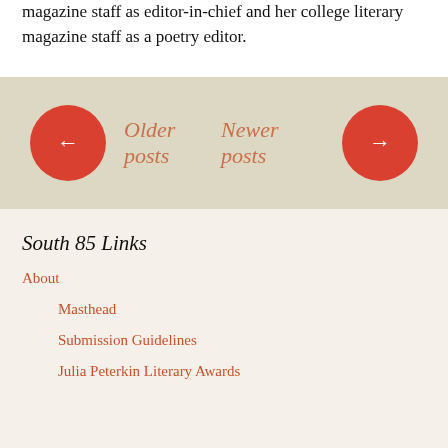magazine staff as editor-in-chief and her college literary magazine staff as a poetry editor.
[Figure (infographic): Pagination bar on beige/tan background with two red circle buttons (← and →) and italic orange-red text 'Older posts' and 'Newer posts']
South 85 Links
About
Masthead
Submission Guidelines
Julia Peterkin Literary Awards